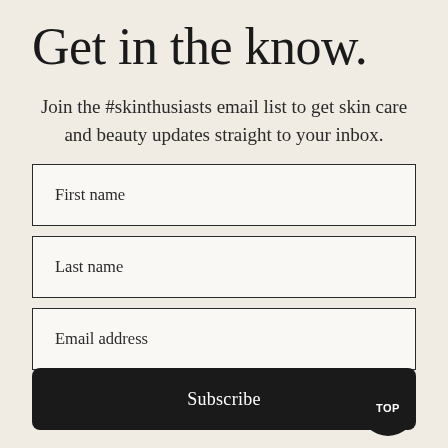Get in the know.
Join the #skinthusiasts email list to get skin care and beauty updates straight to your inbox.
First name
Last name
Email address
Subscribe
TOP